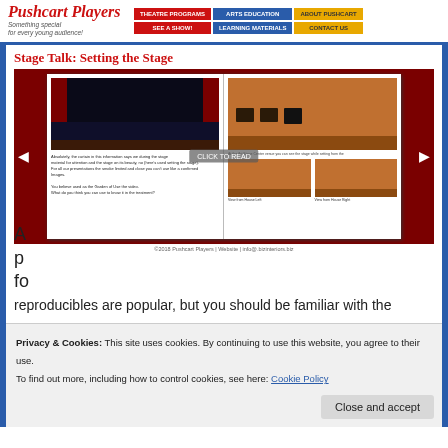[Figure (screenshot): Pushcart Players website header with logo and navigation buttons: Theatre Programs, Arts Education, About Pushcart, See A Show!, Learning Materials, Contact Us]
Stage Talk: Setting the Stage
[Figure (screenshot): Interactive slideshow showing a theatre stage book spread with stage images and text, with red curtain stage on left page and orange-toned stage view on right page with thumbnail images below]
Privacy & Cookies: This site uses cookies. By continuing to use this website, you agree to their use.
To find out more, including how to control cookies, see here: Cookie Policy
reproducibles are popular, but you should be familiar with the